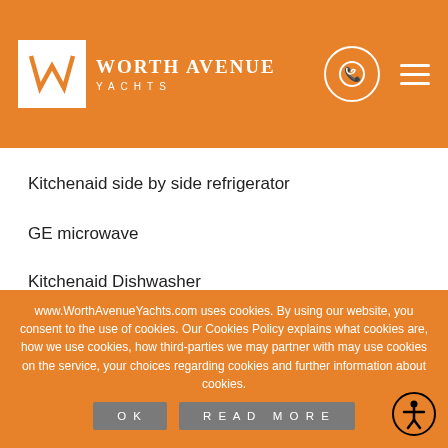Worth Avenue Yachts
Kitchenaid side by side refrigerator
GE microwave
Kitchenaid Dishwasher
Kitchenaid trash compactor
www.WorthAvenueYachts.com uses cookies. By using our website, you consent to the use of cookies. Our Cookies Policy explains what cookies are, how we use cookies, how third-parties we may partner with may use cookies on the service, your choices regarding cookies and further information about cookies.